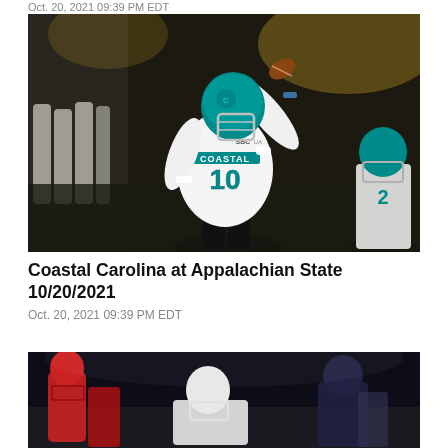Oct. 20, 2021 09:39 PM EDT
[Figure (photo): Coastal Carolina quarterback #10 in white uniform throwing a football during a night game, with blurred background crowd and a teammate visible on the right]
Coastal Carolina at Appalachian State 10/20/2021
Oct. 20, 2021 09:39 PM EDT
[Figure (photo): Football players on field at night game, partial view showing players in action near the bottom of the page]